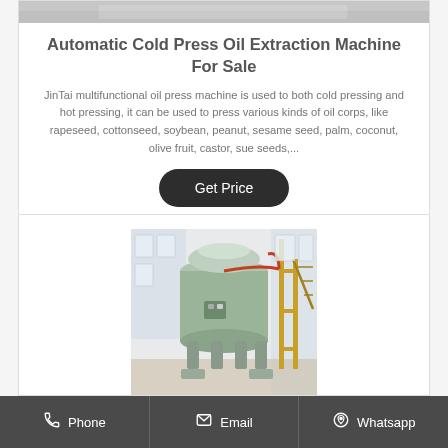[Figure (photo): Top strip of a product image — partial view of an oil press machine]
Automatic Cold Press Oil Extraction Machine For Sale
JinTai multifunctional oil press machine is used to both cold pressing and hot pressing, it can be used to press various kinds of oil corps, like rapeseed, cottonseed, soybean, peanut, sesame seed, palm, coconut, olive fruit, castor, sue seeds,...
[Figure (photo): Industrial oil extraction/refinery machine in a factory building — large cylindrical green machine with yellow scaffolding and pipes]
Phone   Email   Whatsapp